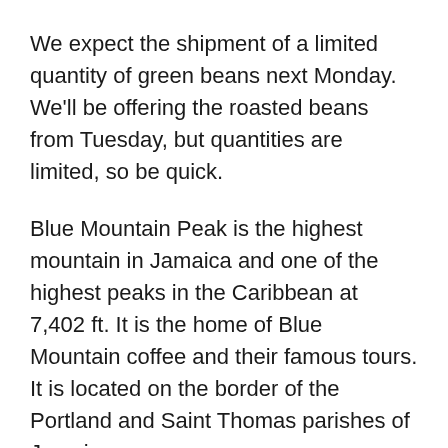We expect the shipment of a limited quantity of green beans next Monday. We'll be offering the roasted beans from Tuesday, but quantities are limited, so be quick.
Blue Mountain Peak is the highest mountain in Jamaica and one of the highest peaks in the Caribbean at 7,402 ft. It is the home of Blue Mountain coffee and their famous tours. It is located on the border of the Portland and Saint Thomas parishes of Jamaica.
A little history
The Blue Mountains are considered by many to be a hiker's and camper's paradise. The traditional Blue Mountain trek is a 7-mile hike to the peak